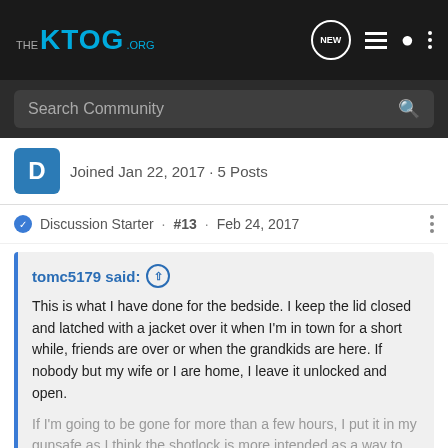THE KTOG.ORG
Search Community
Joined Jan 22, 2017 · 5 Posts
Discussion Starter · #13 · Feb 24, 2017
tomc5179 said: This is what I have done for the bedside. I keep the lid closed and latched with a jacket over it when I'm in town for a short while, friends are over or when the grandkids are here. If nobody but my wife or I are home, I leave it unlocked and open.

If I'm going to be gone for more than a few hours, I put it in my gunsafe as I think the shotlock is more intended as a way to keep
Click to expand...
I like tha
[Figure (screenshot): Cabelas ad banner: RELOADING SUPPLIES SHOP NOW]